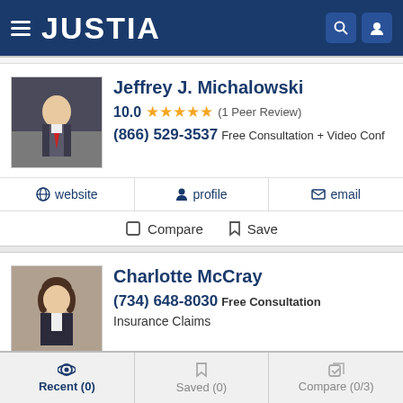JUSTIA
Jeffrey J. Michalowski
10.0 ★★★★★ (1 Peer Review)
(866) 529-3537 Free Consultation + Video Conf
website | profile | email
Compare | Save
Charlotte McCray
(734) 648-8030 Free Consultation
Insurance Claims
website | profile | email
Recent (0) | Saved (0) | Compare (0/3)